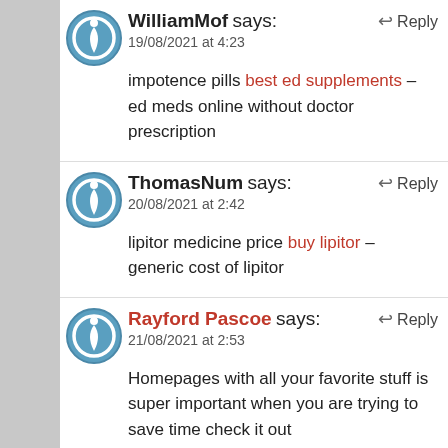WilliamMof says:
19/08/2021 at 4:23
impotence pills best ed supplements – ed meds online without doctor prescription
ThomasNum says:
20/08/2021 at 2:42
lipitor medicine price buy lipitor – generic cost of lipitor
Rayford Pascoe says:
21/08/2021 at 2:53
Homepages with all your favorite stuff is super important when you are trying to save time check it out https://m.allmyfaves.com/index/mobiletab/tabid/1643477/